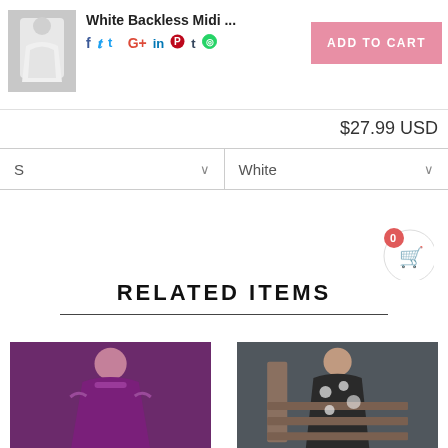[Figure (photo): Small thumbnail of white backless midi dress product image]
White Backless Midi ...
Social share icons: Facebook, Twitter, Google+, LinkedIn, Pinterest, Tumblr, WhatsApp
ADD TO CART
$27.99 USD
S (size dropdown)
White (color dropdown)
[Figure (infographic): Shopping cart widget icon with badge showing 0]
RELATED ITEMS
[Figure (photo): Purple velvet long sleeve maxi dress product photo]
[Figure (photo): Black and white patterned wrap dress product photo on stairs]